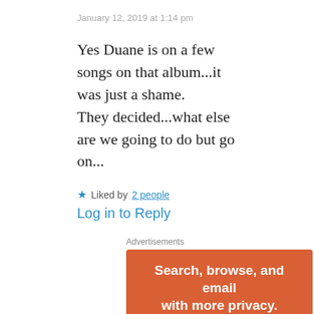January 12, 2019 at 1:14 pm
Yes Duane is on a few songs on that album...it was just a shame.
They decided...what else are we going to do but go on...
★ Liked by 2 people
Log in to Reply
Advertisements
[Figure (other): Advertisement banner: orange background with text 'Search, browse, and email with more privacy. All in One Free App' with a phone graphic at the bottom.]